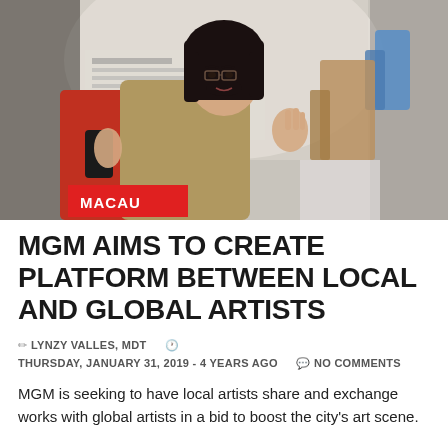[Figure (photo): A woman with short dark hair and glasses, wearing a tan vest over a red garment, speaking or gesturing with hands raised. Background shows a gallery or exhibition space with artworks and sculptures. A red 'MACAU' label tag is overlaid at the bottom left of the image.]
MGM AIMS TO CREATE PLATFORM BETWEEN LOCAL AND GLOBAL ARTISTS
LYNZY VALLES, MDT   THURSDAY, JANUARY 31, 2019 - 4 YEARS AGO   NO COMMENTS
MGM is seeking to have local artists share and exchange works with global artists in a bid to boost the city's art scene.